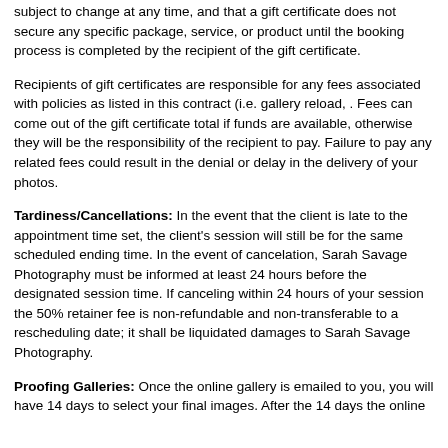subject to change at any time, and that a gift certificate does not secure any specific package, service, or product until the booking process is completed by the recipient of the gift certificate.
Recipients of gift certificates are responsible for any fees associated with policies as listed in this contract (i.e. gallery reload, . Fees can come out of the gift certificate total if funds are available, otherwise they will be the responsibility of the recipient to pay. Failure to pay any related fees could result in the denial or delay in the delivery of your photos.
Tardiness/Cancellations: In the event that the client is late to the appointment time set, the client's session will still be for the same scheduled ending time. In the event of cancelation, Sarah Savage Photography must be informed at least 24 hours before the designated session time. If canceling within 24 hours of your session the 50% retainer fee is non-refundable and non-transferable to a rescheduling date; it shall be liquidated damages to Sarah Savage Photography.
Proofing Galleries: Once the online gallery is emailed to you, you will have 14 days to select your final images. After the 14 days the online